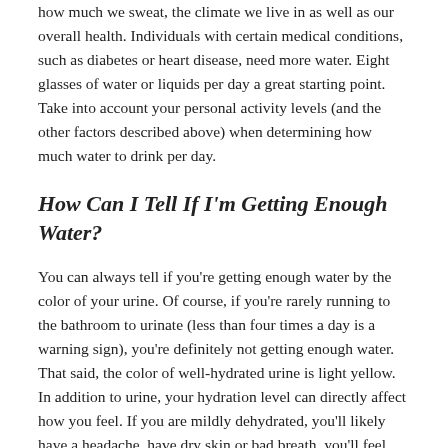how much we sweat, the climate we live in as well as our overall health. Individuals with certain medical conditions, such as diabetes or heart disease, need more water. Eight glasses of water or liquids per day a great starting point. Take into account your personal activity levels (and the other factors described above) when determining how much water to drink per day.
How Can I Tell If I'm Getting Enough Water?
You can always tell if you're getting enough water by the color of your urine. Of course, if you're rarely running to the bathroom to urinate (less than four times a day is a warning sign), you're definitely not getting enough water. That said, the color of well-hydrated urine is light yellow. In addition to urine, your hydration level can directly affect how you feel. If you are mildly dehydrated, you'll likely have a headache, have dry skin or bad breath, you'll feel tired or you will be unlikely to focus. Sudden and unusual